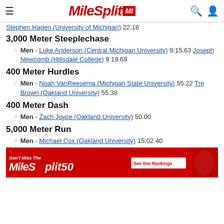MileSplit MI
Stephen Hagen (University of Michigan) 22.18
3,000 Meter Steeplechase
Men - Luke Anderson (Central Michigan University) 9:15.63 Joseph Newcomb (Hillsdale College) 9:19.69
400 Meter Hurdles
Men - Noah VanReesema (Michigan State University) 55.22 Tre Brown (Oakland University) 55.38
400 Meter Dash
Men - Zach Joyce (Oakland University) 50.00
5,000 Meter Run
Men - Michael Cox (Oakland University) 15:02.40
[Figure (infographic): MileSplit50 advertisement banner: Don't Miss The MileSplit50 - See Our Rankings]